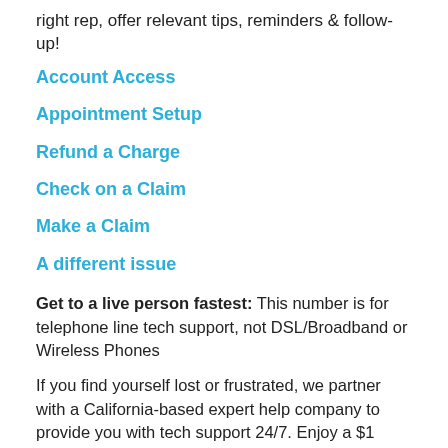right rep, offer relevant tips, reminders & follow-up!
Account Access
Appointment Setup
Refund a Charge
Check on a Claim
Make a Claim
A different issue
Get to a live person fastest: This number is for telephone line tech support, not DSL/Broadband or Wireless Phones
If you find yourself lost or frustrated, we partner with a California-based expert help company to provide you with tech support 24/7. Enjoy a $1 one-week trial membership and get help from a live expert now. Click